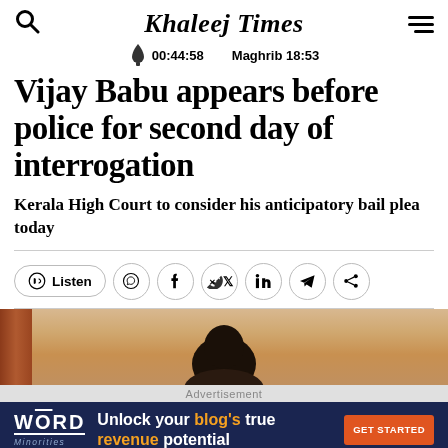Khaleej Times | 00:44:58 | Maghrib 18:53
Vijay Babu appears before police for second day of interrogation
Kerala High Court to consider his anticipatory bail plea today
Listen | Social share icons: WhatsApp, Facebook, Twitter, LinkedIn, Telegram, Share
[Figure (photo): Partial photo showing the back of a person's head with dark hair, cropped by advertisement overlay]
Advertisement
WORD Minorities — Unlock your blog's true revenue potential — GET STARTED